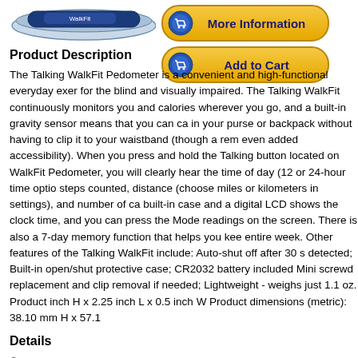[Figure (photo): Product image of the Talking WalkFit Pedometer, showing a blue device.]
[Figure (other): More Information button with shopping cart icon, yellow rounded rectangle button.]
[Figure (other): Add to Cart button with shopping cart icon, yellow rounded rectangle button.]
Product Description
The Talking WalkFit Pedometer is a convenient and high-functional everyday exer for the blind and visually impaired. The Talking WalkFit continuously monitors you and calories wherever you go, and a built-in gravity sensor means that you can ca in your purse or backpack without having to clip it to your waistband (though a rem even added accessibility). When you press and hold the Talking button located on WalkFit Pedometer, you will clearly hear the time of day (12 or 24-hour time optio steps counted, distance (choose miles or kilometers in settings), and number of ca built-in case and a digital LCD shows the clock time, and you can press the Mode readings on the screen. There is also a 7-day memory function that helps you kee entire week. Other features of the Talking WalkFit include: Auto-shut off after 30 s detected; Built-in open/shut protective case; CR2032 battery included Mini screwd replacement and clip removal if needed; Lightweight - weighs just 1.1 oz. Product inch H x 2.25 inch L x 0.5 inch W Product dimensions (metric): 38.10 mm H x 57.1
Details
Announces Time Exercise Time Steps Distance and Calories in a Clear Fem
Built in gravity sensor means you can carry pedometer in your purse or back